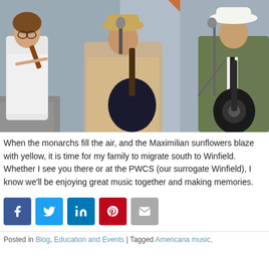[Figure (photo): Three musicians performing on stage outdoors. A woman plays violin on the left wearing a white jacket. A man in the center wears a tan cowboy hat and plays a guitar/mandolin at a microphone. A man on the right wears a white cowboy hat and an olive suit jacket, playing a resonator guitar.]
When the monarchs fill the air, and the Maximilian sunflowers blaze with yellow, it is time for my family to migrate south to Winfield. Whether I see you there or at the PWCS (our surrogate Winfield), I know we'll be enjoying great music together and making memories.
[Figure (infographic): Row of five social sharing icon buttons: Facebook (blue), Twitter (light blue), LinkedIn (blue), Pinterest (red), Email (gray)]
Posted in Blog, Education and Events | Tagged Americana music,